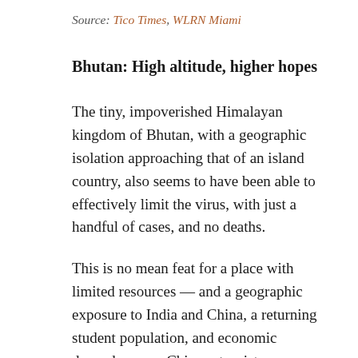Source: Tico Times, WLRN Miami
Bhutan: High altitude, higher hopes
The tiny, impoverished Himalayan kingdom of Bhutan, with a geographic isolation approaching that of an island country, also seems to have been able to effectively limit the virus, with just a handful of cases, and no deaths.
This is no mean feat for a place with limited resources — and a geographic exposure to India and China, a returning student population, and economic dependence on Chinese tourists